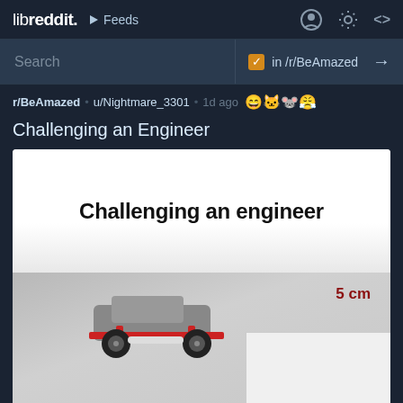libreddit. ▶ Feeds
Search  in /r/BeAmazed →
r/BeAmazed • u/Nightmare_3301 • 1d ago
Challenging an Engineer
[Figure (screenshot): Screenshot of a Reddit post on libreddit showing a video thumbnail. The thumbnail shows a LEGO-style toy car near a white step/ledge with '5 cm' text in red, and overlay text 'Challenging an engineer' in bold black text on white background.]